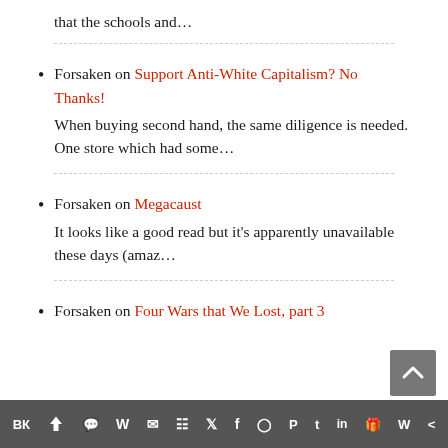that the schools and…
Forsaken on Support Anti-White Capitalism? No Thanks! When buying second hand, the same diligence is needed. One store which had some…
Forsaken on Megacaust It looks like a good read but it's apparently unavailable these days (amaz…
Forsaken on Four Wars that We Lost, part 3
Social share icons bar